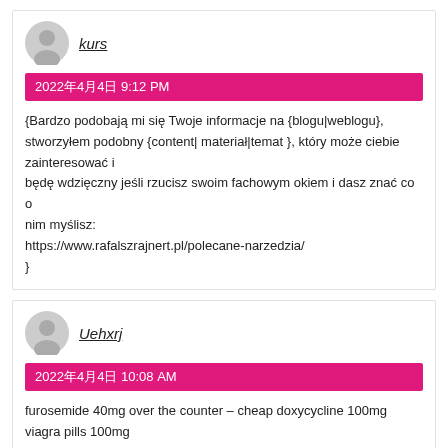kurs
2022年4月4日 9:12 PM
{Bardzo podobają mi się Twoje informacje na {blogu|weblogu}, stworzyłem podobny {content| materiał|temat }, który może ciebie zainteresować i będę wdzięczny jeśli rzucisz swoim fachowym okiem i dasz znać co o nim myślisz:
https://www.rafalszrajnert.pl/polecane-narzedzia/
}
Uehxrj
2022年4月4日 10:08 AM
furosemide 40mg over the counter – cheap doxycycline 100mg viagra pills 100mg